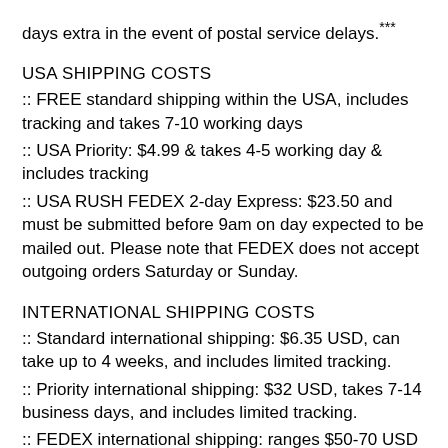days extra in the event of postal service delays.***
USA SHIPPING COSTS
:: FREE standard shipping within the USA, includes tracking and takes 7-10 working days
:: USA Priority: $4.99 & takes 4-5 working day & includes tracking
:: USA RUSH FEDEX 2-day Express: $23.50 and must be submitted before 9am on day expected to be mailed out. Please note that FEDEX does not accept outgoing orders Saturday or Sunday.
INTERNATIONAL SHIPPING COSTS
:: Standard international shipping: $6.35 USD, can take up to 4 weeks, and includes limited tracking.
:: Priority international shipping: $32 USD, takes 7-14 business days, and includes limited tracking.
:: FEDEX international shipping: ranges $50-70 USD